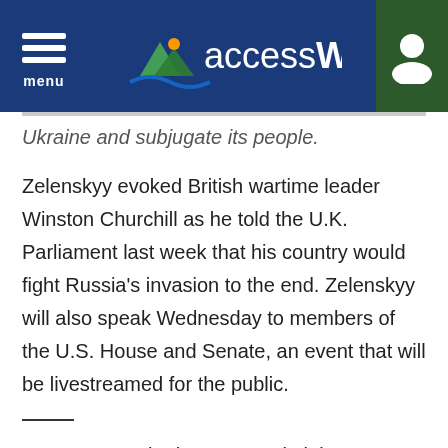menu | accessWDUN
Ukraine and subjugate its people.
Zelenskyy evoked British wartime leader Winston Churchill as he told the U.K. Parliament last week that his country would fight Russia's invasion to the end. Zelenskyy will also speak Wednesday to members of the U.S. House and Senate, an event that will be livestreamed for the public.
MYKOLAIV, Ukraine — In Mykolaiv, a southern Ukraine city bordering the Black Sea, walls of sandbags with mannequins for decoys are placed